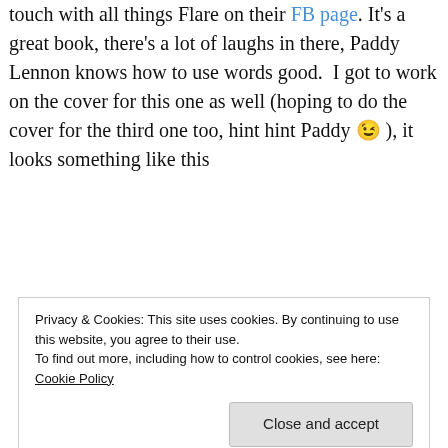touch with all things Flare on their FB page. It's a great book, there's a lot of laughs in there, Paddy Lennon knows how to use words good.  I got to work on the cover for this one as well (hoping to do the cover for the third one too, hint hint Paddy 😉 ), it looks something like this
[Figure (illustration): Black and white science fiction illustration showing a robot or mech suit figure against a dark space background with a bright glowing light (star or sun) in the upper left.]
Privacy & Cookies: This site uses cookies. By continuing to use this website, you agree to their use.
To find out more, including how to control cookies, see here: Cookie Policy
Close and accept